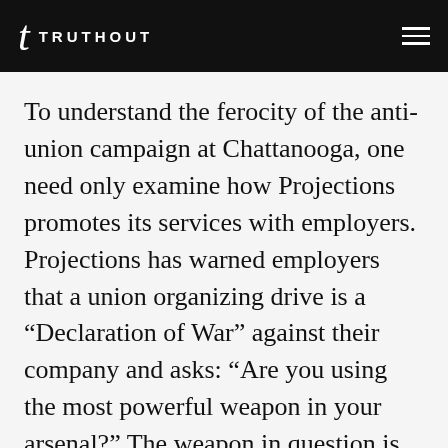TRUTHOUT
To understand the ferocity of the anti-union campaign at Chattanooga, one need only examine how Projections promotes its services with employers. Projections has warned employers that a union organizing drive is a “Declaration of War” against their company and asks: “Are you using the most powerful weapon in your arsenal?” The weapon in question is one of Projections’ custom-made videos or websites that “launch all-out attacks on unions … to destroy the union’s attractiveness in the eyes of